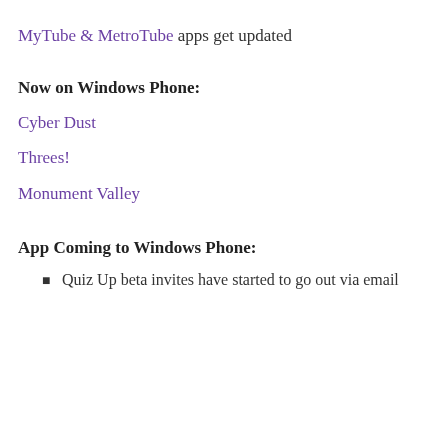MyTube & MetroTube apps get updated
Now on Windows Phone:
Cyber Dust
Threes!
Monument Valley
App Coming to Windows Phone:
Quiz Up beta invites have started to go out via email